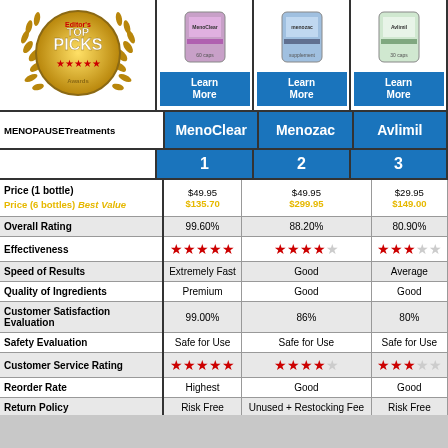[Figure (logo): Editor's Top Picks award badge in gold]
[Figure (photo): MenoClear supplement bottle]
[Figure (photo): Menozac supplement bottle]
[Figure (photo): Avlimil supplement bottle]
| MENOPAUSETreatments | MenoClear | Menozac | Avlimil |
| --- | --- | --- | --- |
|  | 1 | 2 | 3 |
| Price (1 bottle)
Price (6 bottles) Best Value | $49.95
$135.70 | $49.95
$299.95 | $29.95
$149.00 |
| Overall Rating | 99.60% | 88.20% | 80.90% |
| Effectiveness | ★★★★★ | ★★★★☆ | ★★★½☆ |
| Speed of Results | Extremely Fast | Good | Average |
| Quality of Ingredients | Premium | Good | Good |
| Customer Satisfaction Evaluation | 99.00% | 86% | 80% |
| Safety Evaluation | Safe for Use | Safe for Use | Safe for Use |
| Customer Service Rating | ★★★★★ | ★★★★☆ | ★★★½☆ |
| Reorder Rate | Highest | Good | Good |
| Return Policy | Risk Free | Unused + Restocking Fee | Risk Free |
| Success Rate | 99% | 85.20% | 78% |